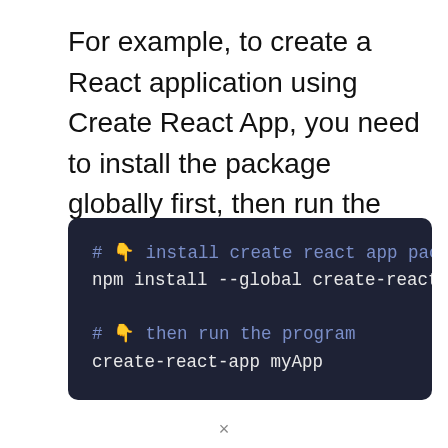For example, to create a React application using Create React App, you need to install the package globally first, then run the package:
[Figure (screenshot): Dark code block showing two commands: a comment '# 👇 install create react app package' followed by 'npm install --global create-react-a[pp]', then a blank line, then a comment '# 👇 then run the program' followed by 'create-react-app myApp']